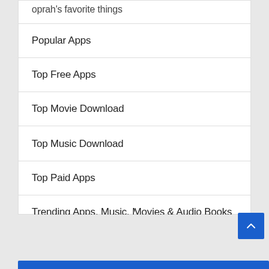oprah's favorite things
Popular Apps
Top Free Apps
Top Movie Download
Top Music Download
Top Paid Apps
Trending Apps, Music, Movies & Audio Books